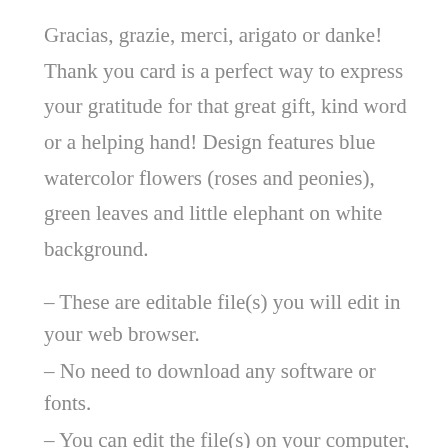Gracias, grazie, merci, arigato or danke! Thank you card is a perfect way to express your gratitude for that great gift, kind word or a helping hand! Design features blue watercolor flowers (roses and peonies), green leaves and little elephant on white background.
– These are editable file(s) you will edit in your web browser.
– No need to download any software or fonts.
– You can edit the file(s) on your computer, laptop, tablet or mobile.
– Two cards are included in the purchase: flat card (5x3.5), tent card (5x7 unfolded, 5x3.5